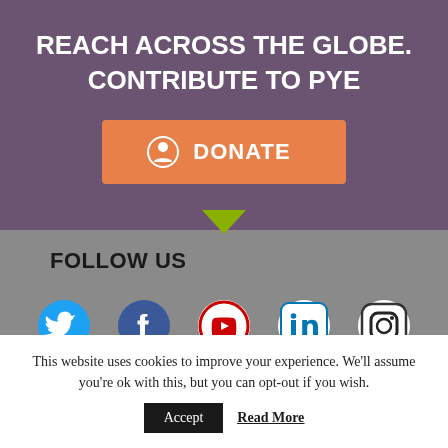REACH ACROSS THE GLOBE. CONTRIBUTE TO PYE
[Figure (other): Orange DONATE button with coin/dollar icon]
FOLLOW US
[Figure (other): Social media icons: Twitter, Facebook, YouTube, LinkedIn, Instagram]
This website uses cookies to improve your experience. We'll assume you're ok with this, but you can opt-out if you wish.
Accept  Read More